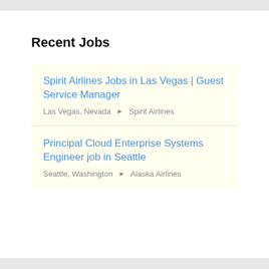Recent Jobs
Spirit Airlines Jobs in Las Vegas | Guest Service Manager
Las Vegas, Nevada ▶ Spirit Airlines
Principal Cloud Enterprise Systems Engineer job in Seattle
Seattle, Washington ▶ Alaska Airlines